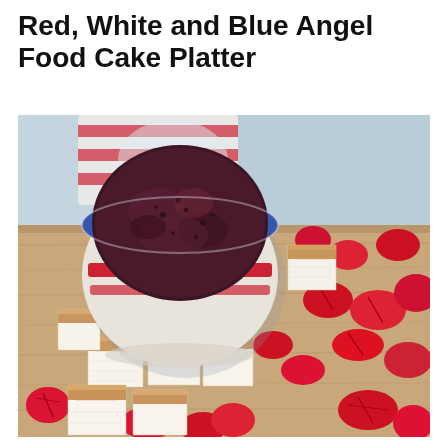Red, White and Blue Angel Food Cake Platter
[Figure (photo): A food photograph showing a platter of angel food cake cubes arranged with fresh strawberries, accompanied by a small blue and red striped bowl filled with a dark blueberry or mixed berry sauce/dip. A red and white striped cloth napkin is visible in the background. The cake pieces show golden-brown crust on top and fluffy white interior.]